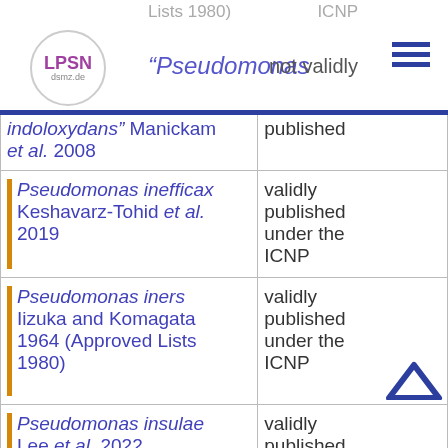LPSN dsmz.de
| Name | Status |
| --- | --- |
| "Pseudomonas indoloxydans" Manickam et al. 2008 | not validly published |
| Pseudomonas inefficax Keshavarz-Tohid et al. 2019 | validly published under the ICNP |
| Pseudomonas iners Iizuka and Komagata 1964 (Approved Lists 1980) | validly published under the ICNP |
| Pseudomonas insulae Lee et al. 2022 | validly published under the ICNP |
| "Pseudomonas iodina" | not validly |